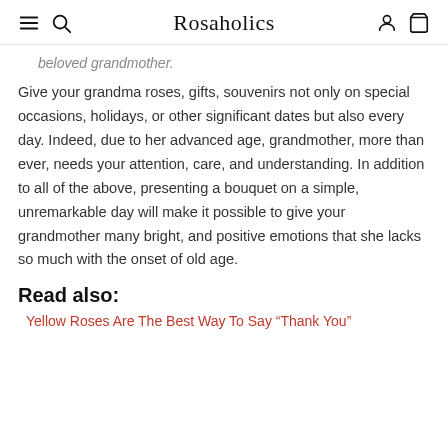Rosaholics
beloved grandmother.
Give your grandma roses, gifts, souvenirs not only on special occasions, holidays, or other significant dates but also every day. Indeed, due to her advanced age, grandmother, more than ever, needs your attention, care, and understanding. In addition to all of the above, presenting a bouquet on a simple, unremarkable day will make it possible to give your grandmother many bright, and positive emotions that she lacks so much with the onset of old age.
Read also:
Yellow Roses Are The Best Way To Say “Thank You”